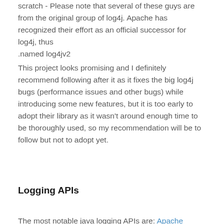scratch - Please note that several of these guys are from the original group of log4j. Apache has recognized their effort as an official successor for log4j, thus named log4jv2.
This project looks promising and I definitely recommend following after it as it fixes the big log4j bugs (performance issues and other bugs) while introducing some new features, but it is too early to adopt their library as it wasn't around enough time to be thoroughly used, so my recommendation will be to follow but not to adopt yet.
Logging APIs
The most notable java logging APIs are: Apache Commons Logging, Slf4j